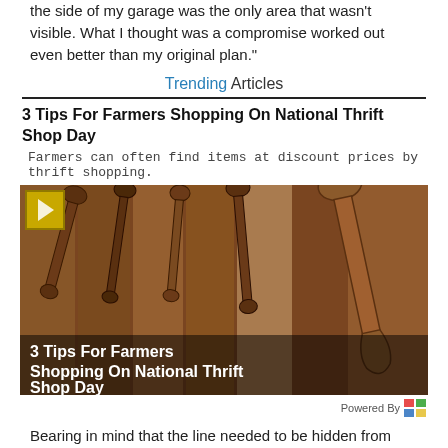the side of my garage was the only area that wasn't visible. What I thought was a compromise worked out even better than my original plan."
Trending Articles
3 Tips For Farmers Shopping On National Thrift Shop Day
Farmers can often find items at discount prices by thrift shopping.
[Figure (photo): Photo of wrenches hanging on a wooden background, with image overlay title '3 Tips For Farmers Shopping On National Thrift Shop Day']
Powered By
Bearing in mind that the line needed to be hidden from view and that it should be eye-pleasing, Walker came up with the